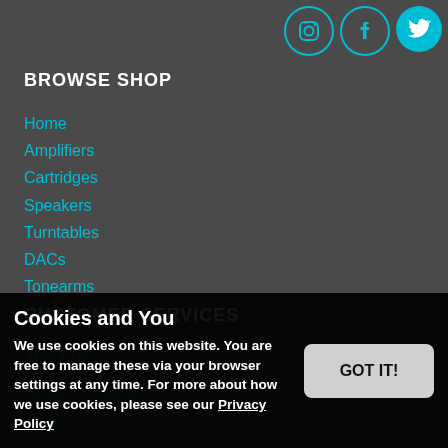[Figure (illustration): Three social media icons (Instagram, Facebook, Twitter/X) as circular buttons in teal/cyan color at top right]
BROWSE SHOP
Home
Amplifiers
Cartridges
Speakers
Turntables
DACs
Tonearms
Gift Vouchers
CUSTOMER SERVICES
About Us
Delivery & Returns
Wishlist
Privacy Policy
Terms & Conditions
Sustainability
Finance
Loyalty Points
Cookies and You
We use cookies on this website. You are free to manage these via your browser settings at any time. For more about how we use cookies, please see our Privacy Policy
GOT IT!